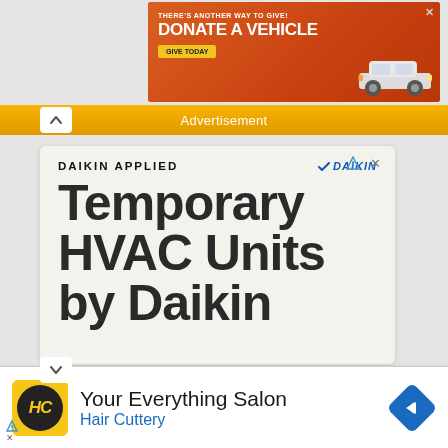[Figure (illustration): Orange advertisement banner for vehicle donation: 'THERE'S ANOTHER WAY TO GIVE! DONATE A VEHICLE - GIVE TODAY' with a white car image on the right and close X button]
Advertisement
[Figure (illustration): Daikin Applied advertisement card on beige background showing 'DAIKIN APPLIED' header with Daikin logo, and large text 'Temporary HVAC Units by Daikin']
[Figure (illustration): Your Everything Salon - Hair Cuttery advertisement with yellow HC logo, salon name, Hair Cuttery text in blue, and navigation diamond icon]